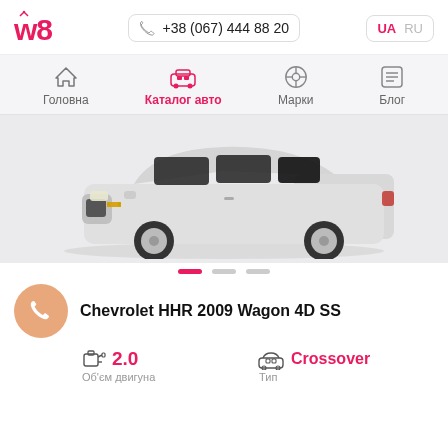w8 — +38 (067) 444 88 20 — UA RU
[Figure (logo): w8 logo in red/pink]
+38 (067) 444 88 20
UA  RU
Головна  Каталог авто  Марки  Блог
[Figure (photo): Silver Chevrolet HHR 2009 Wagon 4D SS side view on light grey background]
Chevrolet HHR 2009 Wagon 4D SS
2.0  Об'єм двигуна
Crossover  Тип